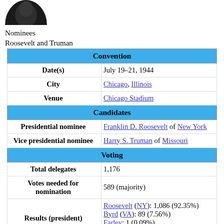[Figure (photo): Black and white photo of Roosevelt (top portion visible)]
Nominees
Roosevelt and Truman
| Field | Value |
| --- | --- |
| Convention |  |
| Date(s) | July 19–21, 1944 |
| City | Chicago, Illinois |
| Venue | Chicago Stadium |
| Candidates |  |
| Presidential nominee | Franklin D. Roosevelt of New York |
| Vice presidential nominee | Harry S. Truman of Missouri |
| Voting |  |
| Total delegates | 1,176 |
| Votes needed for nomination | 589 (majority) |
| Results (president) | Roosevelt (NY): 1,086 (92.35%)
Byrd (VA): 89 (7.56%)
Farley: 1 (0.09%)
Truman (MO): 1,031 (87.67%) |